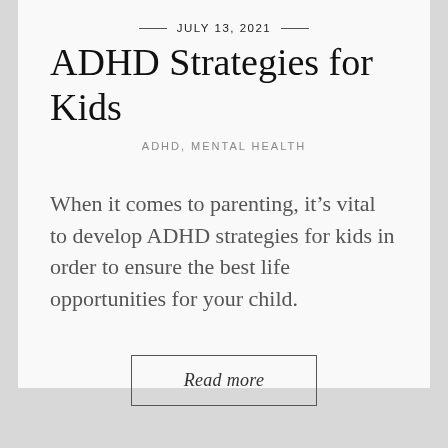JULY 13, 2021
ADHD Strategies for Kids
ADHD, MENTAL HEALTH
When it comes to parenting, it's vital to develop ADHD strategies for kids in order to ensure the best life opportunities for your child.
Read more